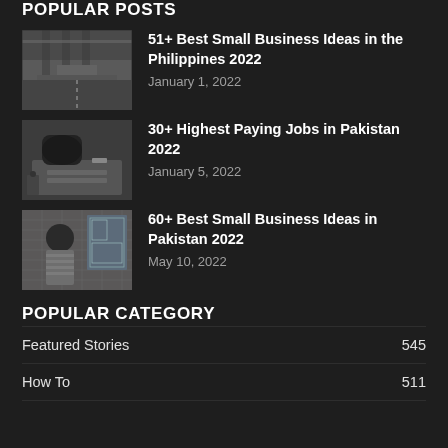POPULAR POSTS
51+ Best Small Business Ideas in the Philippines 2022 · January 1, 2022
30+ Highest Paying Jobs in Pakistan 2022 · January 5, 2022
60+ Best Small Business Ideas in Pakistan 2022 · May 10, 2022
POPULAR CATEGORY
Featured Stories 545
How To 511